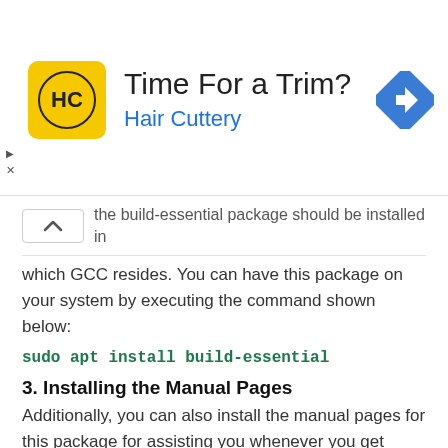[Figure (advertisement): Hair Cuttery advertisement banner with HC logo, text 'Time For a Trim?' and 'Hair Cuttery', and a blue navigation direction icon on the right.]
the build-essential package should be installed in which GCC resides. You can have this package on your system by executing the command shown below:
3. Installing the Manual Pages
Additionally, you can also install the manual pages for this package for assisting you whenever you get stuck while using it. You can install the manual pages with the help of the following terminal command:
After executing this command, the manual pages for the packages will be installed on your system.